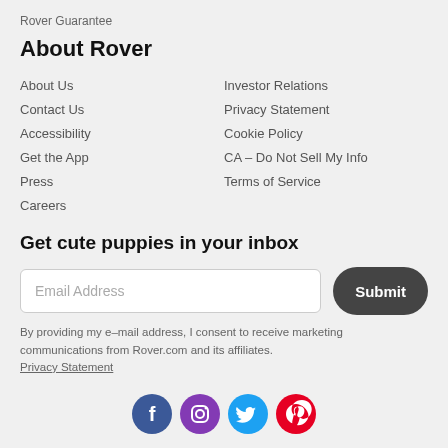Rover Guarantee
About Rover
About Us
Contact Us
Accessibility
Get the App
Press
Careers
Investor Relations
Privacy Statement
Cookie Policy
CA – Do Not Sell My Info
Terms of Service
Get cute puppies in your inbox
By providing my e–mail address, I consent to receive marketing communications from Rover.com and its affiliates. Privacy Statement
[Figure (other): Social media icons: Facebook, Instagram, Twitter, Pinterest]